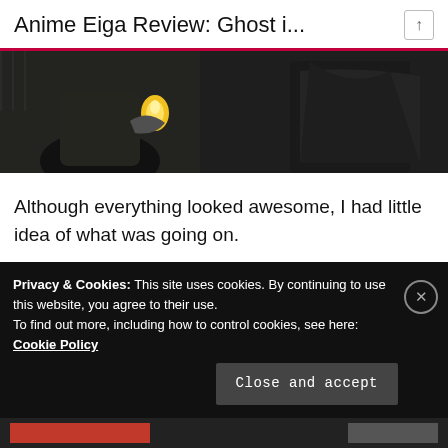Anime Eiga Review: Ghost i...
[Figure (screenshot): Dark anime scene screenshot showing a character holding a small yellow glowing object, dark background with shadowy figures]
Although everything looked awesome, I had little idea of what was going on.
Advertisements
[Figure (other): WordPress advertisement: Need a website quickly – and on a budget? with WordPress logo]
Privacy & Cookies: This site uses cookies. By continuing to use this website, you agree to their use. To find out more, including how to control cookies, see here: Cookie Policy
Close and accept